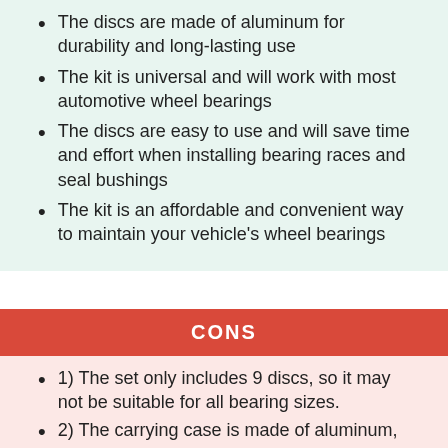The discs are made of aluminum for durability and long-lasting use
The kit is universal and will work with most automotive wheel bearings
The discs are easy to use and will save time and effort when installing bearing races and seal bushings
The kit is an affordable and convenient way to maintain your vehicle's wheel bearings
CONS
1) The set only includes 9 discs, so it may not be suitable for all bearing sizes.
2) The carrying case is made of aluminum, which may not be durable enough to protect